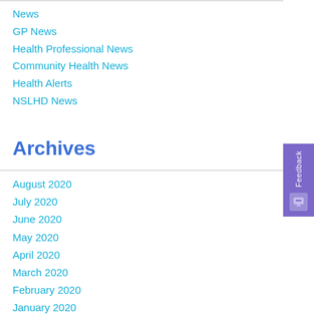News
GP News
Health Professional News
Community Health News
Health Alerts
NSLHD News
Archives
August 2020
July 2020
June 2020
May 2020
April 2020
March 2020
February 2020
January 2020
December 2019
November 2019
October 2019
September 2019